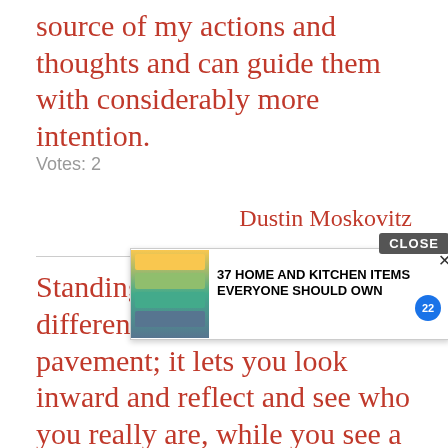source of my actions and thoughts and can guide them with considerably more intention.
Votes: 2
Dustin Moskovitz
Standing on soil feels so much different than standing on city pavement; it lets you look inward and reflect and see who you really are, while you see a beautiful, unspoiled land as far as the eye can see. It allows your inner life to grow.
Votes: 2
Ricardo Montalban
I have … Sacraments. I believe that in a Divine way the use of them teaches the teachable their inward
[Figure (screenshot): Advertisement overlay: '37 HOME AND KITCHEN ITEMS EVERYONE SHOULD OWN' with product image of storage bags and a CLOSE button]